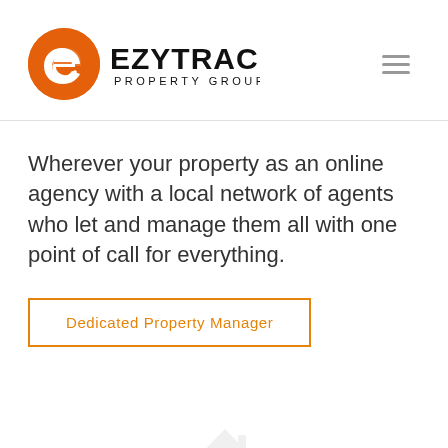[Figure (logo): Ezytrac Property Group logo with orange circle and 'e' mark, bold black text reading EZYTRAC and smaller text PROPERTY GROUP]
Wherever your property as an online agency with a local network of agents who let and manage them all with one point of call for everything.
Dedicated Property Manager
[Figure (photo): Hands holding up a white paper house cutout from below, representing property management or homeownership]